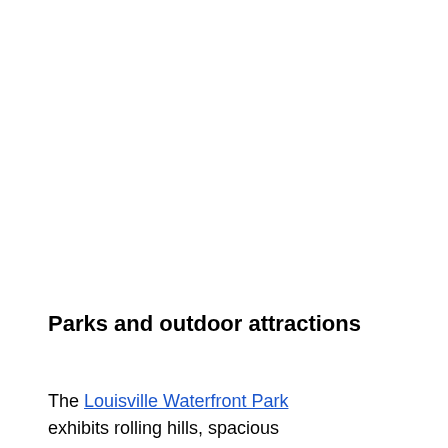Parks and outdoor attractions
The Louisville Waterfront Park exhibits rolling hills, spacious lawns and walking paths on